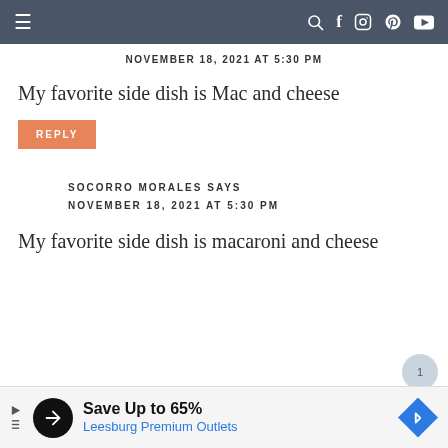≡  🔍 f 📷 p ▶
NOVEMBER 18, 2021 AT 5:30 PM
My favorite side dish is Mac and cheese
REPLY
SOCORRO MORALES SAYS
NOVEMBER 18, 2021 AT 5:30 PM
My favorite side dish is macaroni and cheese
[Figure (infographic): Advertisement bar: Save Up to 65% Leesburg Premium Outlets with logo and diamond navigation icon]